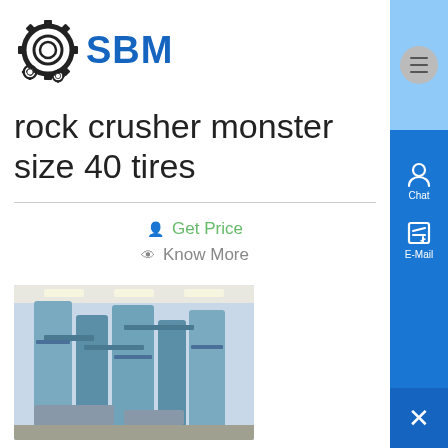[Figure (logo): SBM logo with gear icon and blue SBM text]
rock crusher monster size 40 tires
Get Price
Know More
[Figure (photo): Photo of industrial rock crusher machinery with blue tanks/silos in a factory setting]
rock crusher monster size 40 tires botswana
rock crusher monster size 40 tires botswana